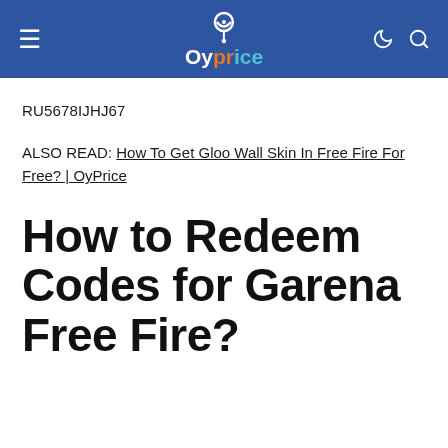OyPrice
RU5678IJHJ67
ALSO READ: How To Get Gloo Wall Skin In Free Fire For Free? | OyPrice
How to Redeem Codes for Garena Free Fire?